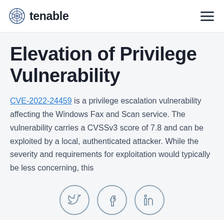tenable
Elevation of Privilege Vulnerability
CVE-2022-24459 is a privilege escalation vulnerability affecting the Windows Fax and Scan service. The vulnerability carries a CVSSv3 score of 7.8 and can be exploited by a local, authenticated attacker. While the severity and requirements for exploitation would typically be less concerning, this
[Figure (infographic): Three social media share icons in circular outlines: Twitter bird, Facebook f, LinkedIn in]